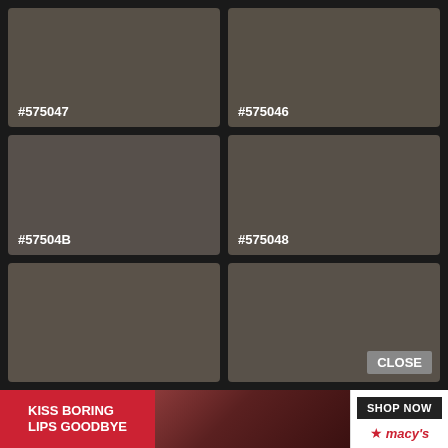[Figure (other): Color swatch grid showing six similar dark brownish-gray color swatches in a 2x3 grid layout. Each swatch displays its hex color code in white text at the bottom left. Top row: #575047 (left), #575046 (right). Middle row: #57504B (left), #575048 (right). Bottom row: two unlabeled swatches.]
CLOSE
[Figure (screenshot): Macy's advertisement banner showing 'KISS BORING LIPS GOODBYE' in white text on red background, a woman with red lips, and 'SHOP NOW' button with Macy's star logo.]